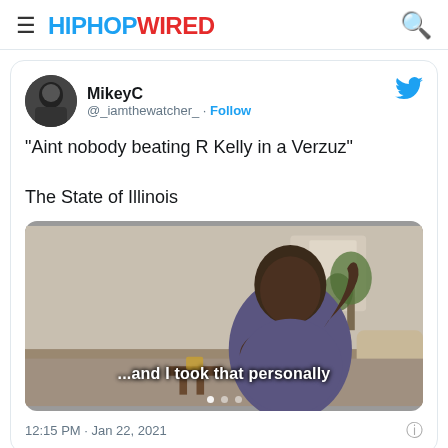HIPHOPWIRED
MikeyC @_iamthewatcher_ · Follow
"Aint nobody beating R Kelly in a Verzuz"

The State of Illinois
[Figure (photo): Meme image of a man gesturing with caption '...and I took that personally']
12:15 PM · Jan 22, 2021